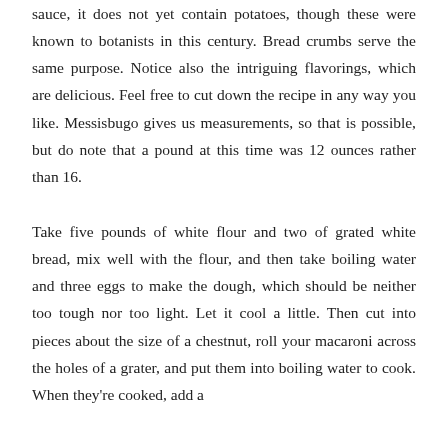sauce, it does not yet contain potatoes, though these were known to botanists in this century. Bread crumbs serve the same purpose. Notice also the intriguing flavorings, which are delicious. Feel free to cut down the recipe in any way you like. Messisbugo gives us measurements, so that is possible, but do note that a pound at this time was 12 ounces rather than 16.
Take five pounds of white flour and two of grated white bread, mix well with the flour, and then take boiling water and three eggs to make the dough, which should be neither too tough nor too light. Let it cool a little. Then cut into pieces about the size of a chestnut, roll your macaroni across the holes of a grater, and put them into boiling water to cook. When they're cooked, add a